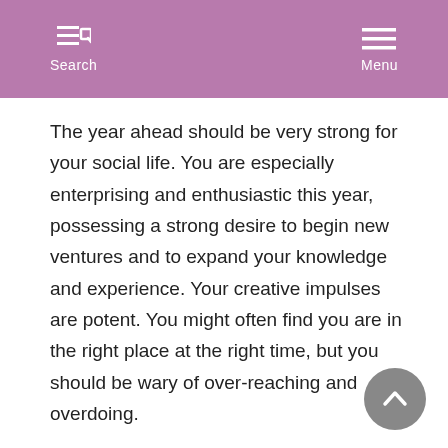Search  Menu
The year ahead should be very strong for your social life. You are especially enterprising and enthusiastic this year, possessing a strong desire to begin new ventures and to expand your knowledge and experience. Your creative impulses are potent. You might often find you are in the right place at the right time, but you should be wary of over-reaching and overdoing.
2011 is a Number Nine year for you. Ruled by Mars. This is a year of completion and transition. It is a time when we need to let go of things that no longer serve their purpose, and hold on to things that have a future.